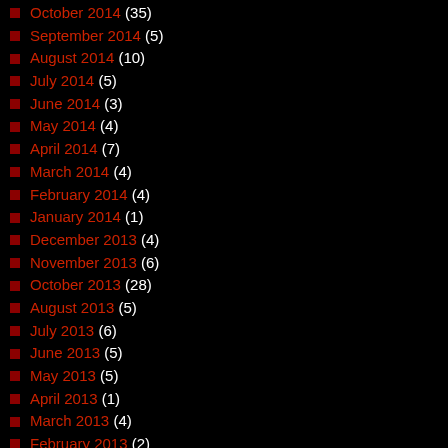October 2014 (35)
September 2014 (5)
August 2014 (10)
July 2014 (5)
June 2014 (3)
May 2014 (4)
April 2014 (7)
March 2014 (4)
February 2014 (4)
January 2014 (1)
December 2013 (4)
November 2013 (6)
October 2013 (28)
August 2013 (5)
July 2013 (6)
June 2013 (5)
May 2013 (5)
April 2013 (1)
March 2013 (4)
February 2013 (2)
December 2012 (1)
August 2012 (1)